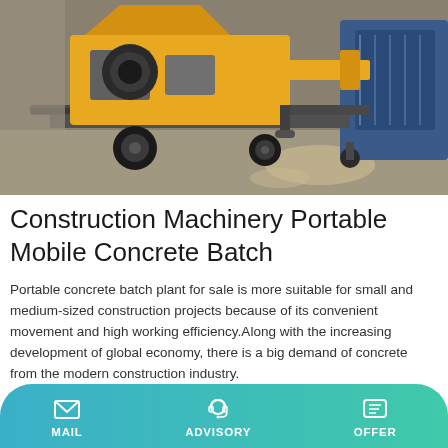[Figure (photo): Yellow and grey construction concrete batch plant machine on a trailer with wheels, parked in a warehouse/industrial setting.]
Construction Machinery Portable Mobile Concrete Batch
Portable concrete batch plant for sale is more suitable for small and medium-sized construction projects because of its convenient movement and high working efficiency.Along with the increasing development of global economy, there is a big demand of concrete from the modern construction industry.
Learn More
[Figure (photo): Aerial/wide-angle photo of an industrial plant or factory, partially visible at the bottom of the content area.]
MAIL  ADVISORY  OFFER